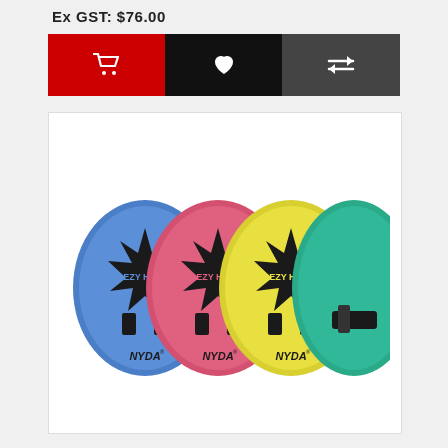Ex GST: $76.00
[Figure (other): Three action buttons: red cart button, black wishlist/heart button, dark grey compare button]
[Figure (photo): Four oval swim/water polo hand paddles in blue, pink, yellow, and teal/green colors, each with 'EZY HEAT' text and NYDA branding, with black straps]